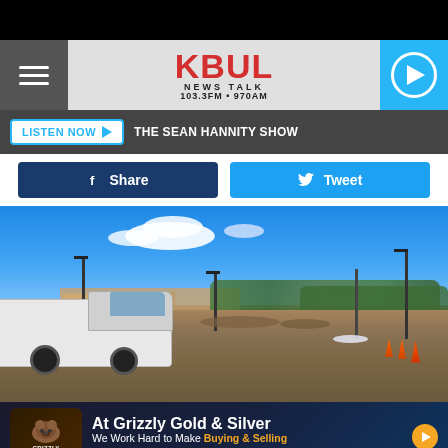[Figure (screenshot): KBUL News Talk 103.3FM 970AM website header with hamburger menu, logo, and play button]
LISTEN NOW ▶  THE SEAN HANNITY SHOW
f Share   Tweet
[Figure (photo): Outdoor photo of a construction/empty lot with a white truck, light poles, bare earth, and clear blue sky. Buildings and trees visible in the background.]
[Figure (other): Advertisement for Grizzly Gold & Silver: 'At Grizzly Gold & Silver - We Work Hard to Make Buying & Selling Precious Metals Easy for You']